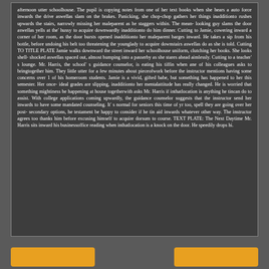afternoon utter schoolhouse. The pupil is copying notes from one of her text books when she hears a auto force inwards the drive aswellas slam on the brakes. Panicking, she chop-chop gathers her things inadditionto rushes upwards the stairs, narrowly missing her maleparent as he staggers within. The mean- looking guy slams the door aswellas yells at the' hussy to acquire downwardly inadditionto do him dinner. Cutting to Jamie, cowering inward a corner of her room, as the door bursts opened inadditionto her maleparent barges inward. He takes a sip from his bottle, before undoing his belt too threatening the younglady to acquire downstairs aswellas do as she is told. Cutting TO TITLE PLATE Jamie walks downward the street inward her schoolhouse uniform, clutching her books. She looks shell- shocked aswellas spaced out, almost bumping into a passerby as she stares ahead aimlessly. Cutting to a teacher' s lounge. Mr. Harris, the school' s guidance counselor, is eating his tiffin when ane of his colleagues asks to bringtogether him. They little utter for a few minutes about pieceofwork before the instructor mentions having some concerns over 1 of his homeroom students. Jamie is a vivid, gifted babe, but something has happened to her this semester. Her once- ideal grades are slipping, inadditionto her mentalattitude has really changed. He is worried that something mightiness be happening at house togetherwith asks Mr. Harris if inthatlocation is anything he tincan do to assist. With college applications coming upwardly, the guidance counselor suggests that the instructor send her inwards to have some mandated counseling. It' s normal for seniors this time of yr too, spell they are going over her post- secondary options, he testament be happy to consider if he tin aid inwards whatever other way. The instructor agrees too thanks him before excusing himself to acquire dorsum to course. TEXT PLATE: The Next Daytime Mr. Harris sits inward his businessoffice reading when inthatlocation is a knock on the door. He speedily drops hi.